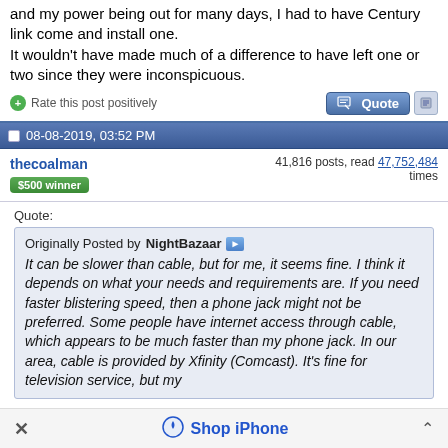and my power being out for many days, I had to have Century link come and install one. It wouldn't have made much of a difference to have left one or two since they were inconspicuous.
Rate this post positively
08-08-2019, 03:52 PM
thecoalman
$500 winner
41,816 posts, read 47,752,484 times
Quote:
Originally Posted by NightBazaar
It can be slower than cable, but for me, it seems fine. I think it depends on what your needs and requirements are. If you need faster blistering speed, then a phone jack might not be preferred. Some people have internet access through cable, which appears to be much faster than my phone jack. In our area, cable is provided by Xfinity (Comcast). It's fine for television service, but my
Shop iPhone